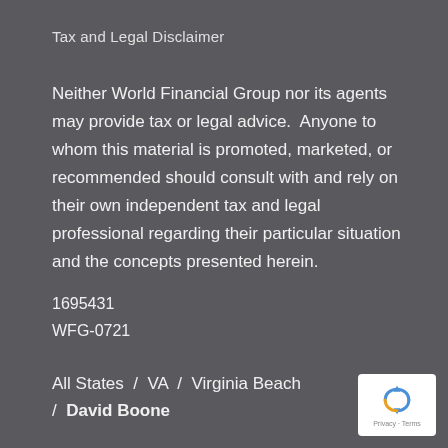Tax and Legal Disclaimer
Neither World Financial Group nor its agents may provide tax or legal advice.  Anyone to whom this material is promoted, marketed, or recommended should consult with and rely on their own independent tax and legal professional regarding their particular situation and the concepts presented herein.
1695431
WFG-0721
All States / VA / Virginia Beach / David Boone
[Figure (logo): Google reCAPTCHA badge with recycling-arrow icon and 'Privacy - Terms' text]